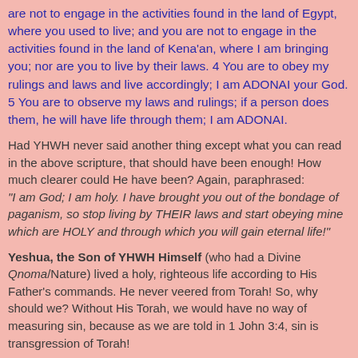are not to engage in the activities found in the land of Egypt, where you used to live; and you are not to engage in the activities found in the land of Kena'an, where I am bringing you; nor are you to live by their laws. 4 You are to obey my rulings and laws and live accordingly; I am ADONAI your God. 5 You are to observe my laws and rulings; if a person does them, he will have life through them; I am ADONAI.
Had YHWH never said another thing except what you can read in the above scripture, that should have been enough! How much clearer could He have been? Again, paraphrased: "I am God; I am holy. I have brought you out of the bondage of paganism, so stop living by THEIR laws and start obeying mine which are HOLY and through which you will gain eternal life!"
Yeshua, the Son of YHWH Himself (who had a Divine Qnoma/Nature) lived a holy, righteous life according to His Father's commands. He never veered from Torah! So, why should we? Without His Torah, we would have no way of measuring sin, because as we are told in 1 John 3:4, sin is transgression of Torah!